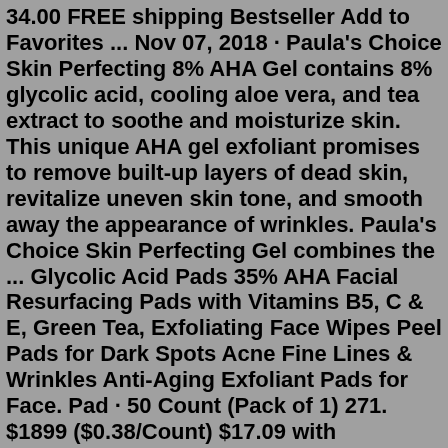34.00 FREE shipping Bestseller Add to Favorites ... Nov 07, 2018 · Paula's Choice Skin Perfecting 8% AHA Gel contains 8% glycolic acid, cooling aloe vera, and tea extract to soothe and moisturize skin. This unique AHA gel exfoliant promises to remove built-up layers of dead skin, revitalize uneven skin tone, and smooth away the appearance of wrinkles. Paula's Choice Skin Perfecting Gel combines the ... Glycolic Acid Pads 35% AHA Facial Resurfacing Pads with Vitamins B5, C & E, Green Tea, Exfoliating Face Wipes Peel Pads for Dark Spots Acne Fine Lines & Wrinkles Anti-Aging Exfoliant Pads for Face. Pad · 50 Count (Pack of 1) 271. $1899 ($0.38/Count) $17.09 with Subscribe & Save discount. Save $6.00 with coupon. Caudalie Vinoperfect Glycolic and AHAs Peel Mask, Radiance in 10 minutes, 2.5 fl. oz. The glycolic peel is for all women with a dull complexion needing an instant boost of radiance. This skin renewal treatment works like a scrub and a peel for a new skin effect. Its formula contains 85.Mar 03, 2022 · 12. Anthony Glycolic Facial Cleanser. This gentle...